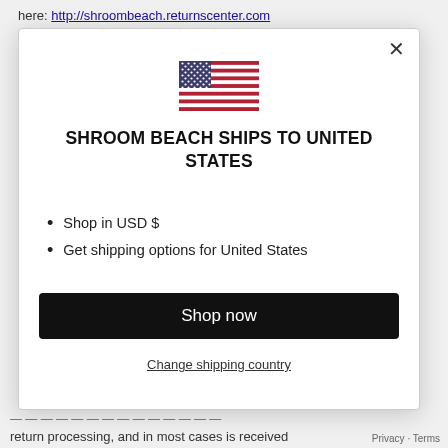here: http://shroombeach.returnscenter.com
[Figure (illustration): US flag SVG illustration shown in modal dialog]
Shroom Beach ships to United States
Shop in USD $
Get shipping options for United States
Shop now
Change shipping country
return processing, and in most cases is received